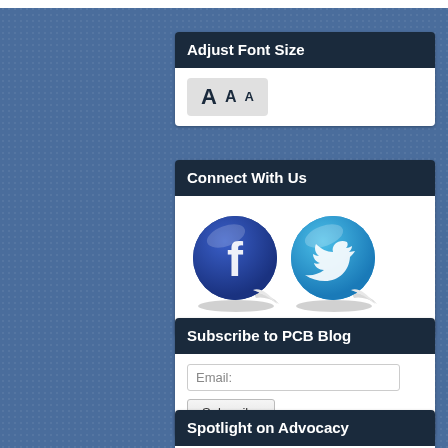Adjust Font Size
[Figure (screenshot): Font size adjustment control with three 'A' letters in large, medium, and small sizes on a grey pill-shaped button]
Connect With Us
[Figure (illustration): Facebook and Twitter social media sticker icons side by side]
Subscribe to PCB Blog
Email: [input field] Subscribe [button]
Spotlight on Advocacy